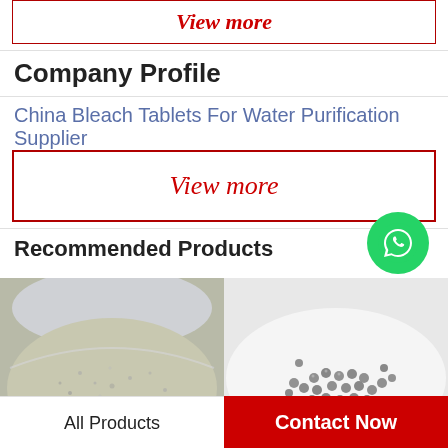View more
Company Profile
China Bleach Tablets For Water Purification Supplier
View more
Recommended Products
[Figure (photo): Close-up photo of granular white/grey powder or sand in a container]
[Figure (photo): Photo of grey spherical pellets/beads on a white surface]
[Figure (logo): WhatsApp green circle icon with phone handset, labeled WhatsApp Online]
All Products
Contact Now